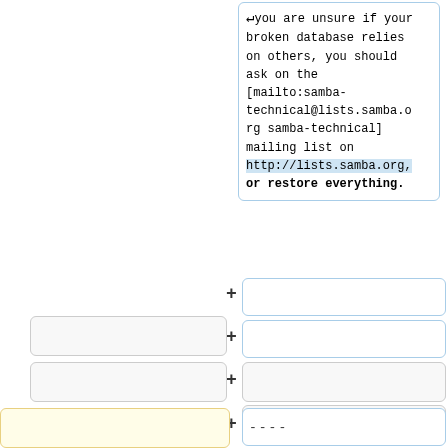↵ you are unsure if your broken database relies on others, you should ask on the [mailto:samba-technical@lists.samba.org samba-technical] mailing list on http://lists.samba.org, or restore everything.
+
+
+
+ ----